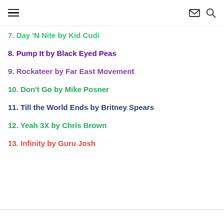Navigation header with hamburger menu, mail icon, and search icon
7. Day 'N Nite by Kid Cudi
8. Pump It by Black Eyed Peas
9. Rockateer by Far East Movement
10. Don't Go by Mike Posner
11. Till the World Ends by Britney Spears
12. Yeah 3X by Chris Brown
13. Infinity by Guru Josh